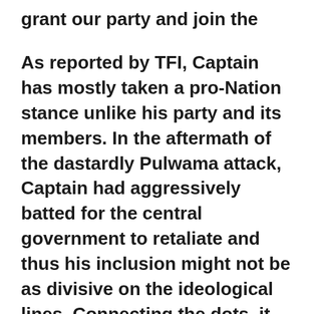grant our party and join the BJP camp.
As reported by TFI, Captain has mostly taken a pro-Nation stance unlike his party and its members. In the aftermath of the dastardly Pulwama attack, Captain had aggressively batted for the central government to retaliate and thus his inclusion might not be as divisive on the ideological lines. Connecting the dots, it will be justified to assume that he will be joining the BJP and if not, he will be floating his own party and support the BJP from outside.
However, in both cases, Congress will